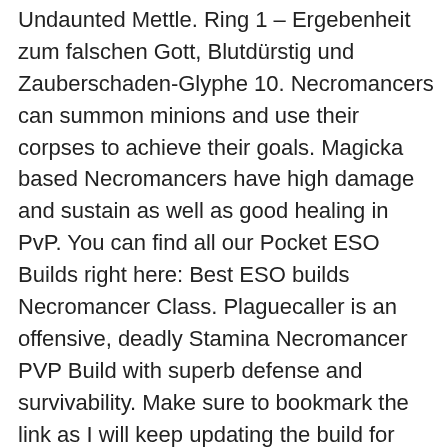Undaunted Mettle. Ring 1 – Ergebenheit zum falschen Gott, Blutdürstig und Zauberschaden-Glyphe 10. Necromancers can summon minions and use their corpses to achieve their goals. Magicka based Necromancers have high damage and sustain as well as good healing in PvP. You can find all our Pocket ESO Builds right here: Best ESO builds Necromancer Class. Plaguecaller is an offensive, deadly Stamina Necromancer PVP Build with superb defense and survivability. Make sure to bookmark the link as I will keep updating the build for each new Update of ESO. He has a lot of PvP experience in Cyrodiil with all classes. If you have any questions about the Necromancer Stamina PvP build, leave a comment below. Morphed from Blastbones. Since you're being attacked a lot this set boosts your physical & spell resistance a lot under pressure and gives you more ultimate to work with! And check out his website, Liko.gg, a friend of the ESO University website! The “Curse” build is